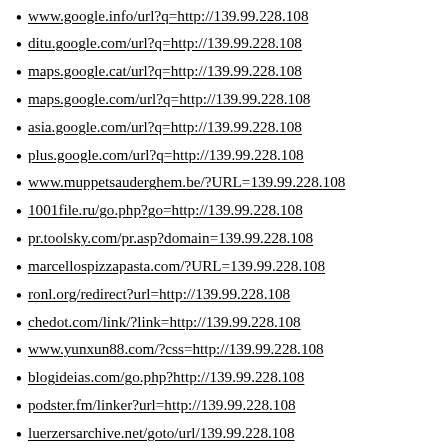www.google.info/url?q=http://139.99.228.108
ditu.google.com/url?q=http://139.99.228.108
maps.google.cat/url?q=http://139.99.228.108
maps.google.com/url?q=http://139.99.228.108
asia.google.com/url?q=http://139.99.228.108
plus.google.com/url?q=http://139.99.228.108
www.muppetsauderghem.be/?URL=139.99.228.108
1001file.ru/go.php?go=http://139.99.228.108
pr.toolsky.com/pr.asp?domain=139.99.228.108
marcellospizzapasta.com/?URL=139.99.228.108
ronl.org/redirect?url=http://139.99.228.108
chedot.com/link/?link=http://139.99.228.108
www.yunxun88.com/?css=http://139.99.228.108
blogideias.com/go.php?http://139.99.228.108
podster.fm/linker?url=http://139.99.228.108
luerzersarchive.net/goto/url/139.99.228.108
www.01-123.com/go.php?http://139.99.228.108
cuqa.ru/links.php?url=http://139.99.228.108
www.inkwell.ru/redirect/?url=139.99.228.108